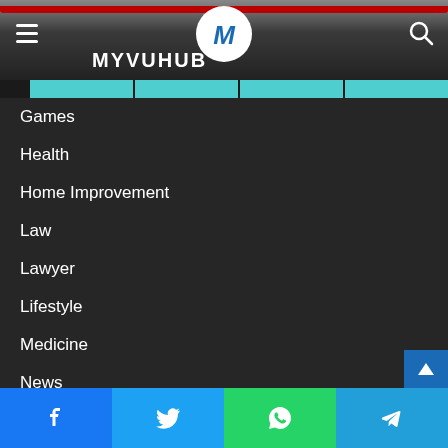MYVUHUB
Games
Health
Home Improvement
Law
Lawyer
Lifestyle
Medicine
News
Online Games
Other
Facebook Twitter WhatsApp Telegram